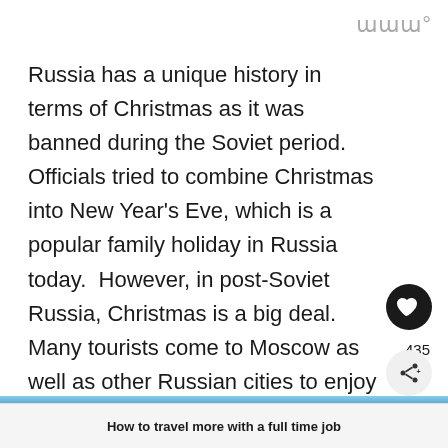ιιιο
Russia has a unique history in terms of Christmas as it was banned during the Soviet period.  Officials tried to combine Christmas into New Year's Eve, which is a popular family holiday in Russia today.  However, in post-Soviet Russia, Christmas is a big deal.  Many tourists come to Moscow as well as other Russian cities to enjoy the festive atmosphere, shop, and take selfies.
435
How to travel more with a full time job